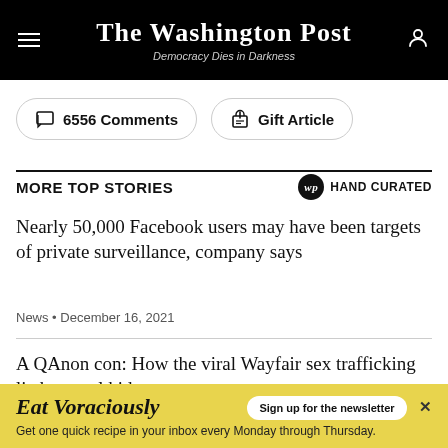The Washington Post — Democracy Dies in Darkness
6556 Comments
Gift Article
MORE TOP STORIES — HAND CURATED
Nearly 50,000 Facebook users may have been targets of private surveillance, company says
News • December 16, 2021
A QAnon con: How the viral Wayfair sex trafficking lie hurt real kids
[Figure (other): Eat Voraciously newsletter advertisement banner in yellow with sign-up button]